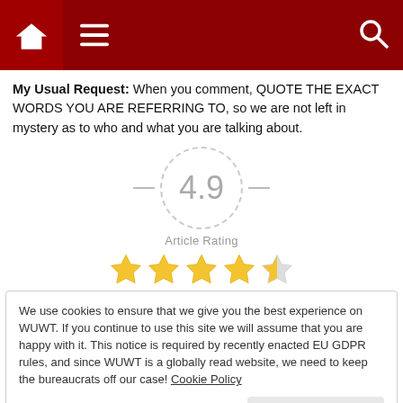[Figure (screenshot): Website navigation bar with dark red background, home icon on left, hamburger menu icon, and search icon on right]
My Usual Request: When you comment, QUOTE THE EXACT WORDS YOU ARE REFERRING TO, so we are not left in mystery as to who and what you are talking about.
[Figure (infographic): Article rating widget showing 4.9 in a dashed circle with 4.5 stars (four full stars and one half star) below it, labeled 'Article Rating']
We use cookies to ensure that we give you the best experience on WUWT. If you continue to use this site we will assume that you are happy with it. This notice is required by recently enacted EU GDPR rules, and since WUWT is a globally read website, we need to keep the bureaucrats off our case! Cookie Policy
Close and accept